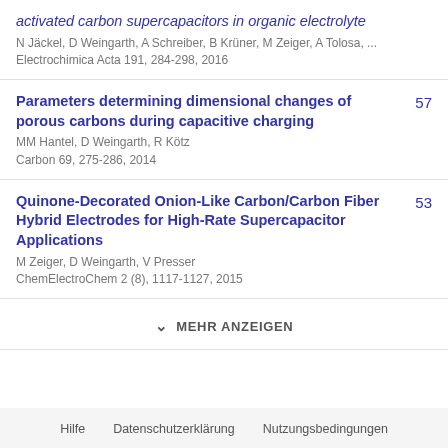activated carbon supercapacitors in organic electrolyte
N Jäckel, D Weingarth, A Schreiber, B Krüner, M Zeiger, A Tolosa, ...
Electrochimica Acta 191, 284-298, 2016
Parameters determining dimensional changes of porous carbons during capacitive charging
MM Hantel, D Weingarth, R Kötz
Carbon 69, 275-286, 2014
57
Quinone-Decorated Onion-Like Carbon/Carbon Fiber Hybrid Electrodes for High-Rate Supercapacitor Applications
M Zeiger, D Weingarth, V Presser
ChemElectroChem 2 (8), 1117-1127, 2015
53
MEHR ANZEIGEN
Hilfe   Datenschutzerklärung   Nutzungsbedingungen